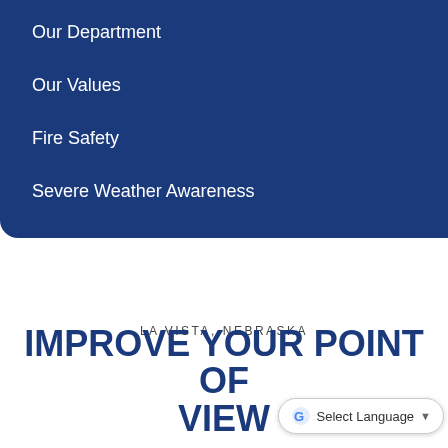Our Department
Our Values
Fire Safety
Severe Weather Awareness
[Figure (illustration): Decorative geometric pattern background in light blue/gray]
LA VISTA, NEBRASKA
IMPROVE YOUR POINT OF VIEW